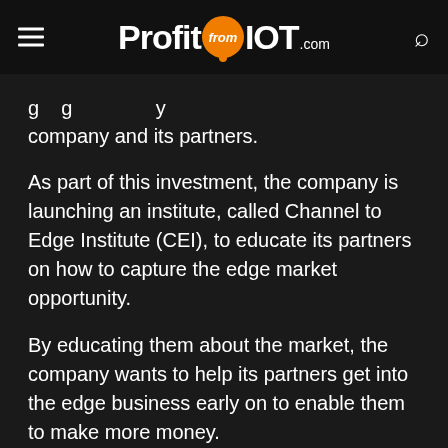ProfitfromIOT.com
...going to happen, primarily company and its partners.
As part of this investment, the company is launching an institute, called Channel to Edge Institute (CEI), to educate its partners on how to capture the edge market opportunity.
By educating them about the market, the company wants to help its partners get into the edge business early on to enable them to make more money.
[Figure (other): Yellow advertisement banner with a red heart graphic and an Express magazine badge]
“Part...two to